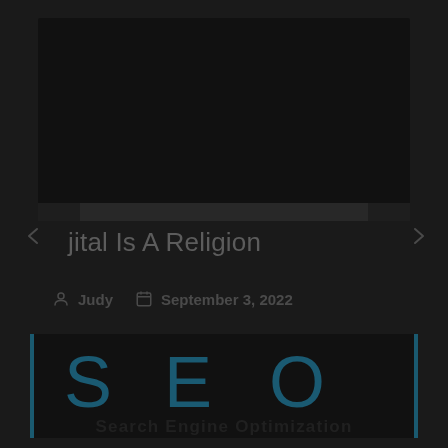[Figure (screenshot): Dark screenshot of a web article page header area]
jital Is A Religion
Judy   September 3, 2022
[Figure (illustration): SEO logo with large teal letters S E O and text 'Search Engine Optimization' below, dark background with teal vertical bar borders]